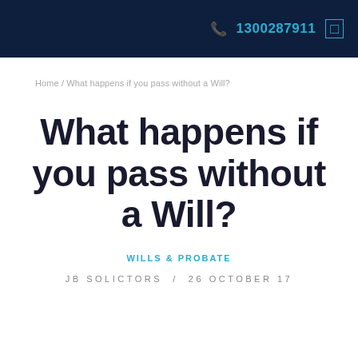1300287911
Home / What happens if you pass without a Will?
What happens if you pass without a Will?
WILLS & PROBATE
JB SOLICTORS / 26 OCTOBER 17